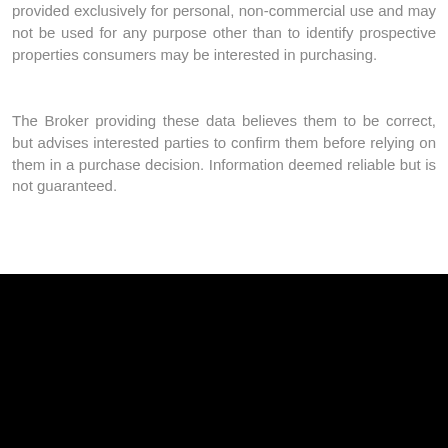provided exclusively for personal, non-commercial use and may not be used for any purpose other than to identify prospective properties consumers may be interested in purchasing.
The Broker providing these data believes them to be correct, but advises interested parties to confirm them before relying on them in a purchase decision. Information deemed reliable but is not guaranteed.